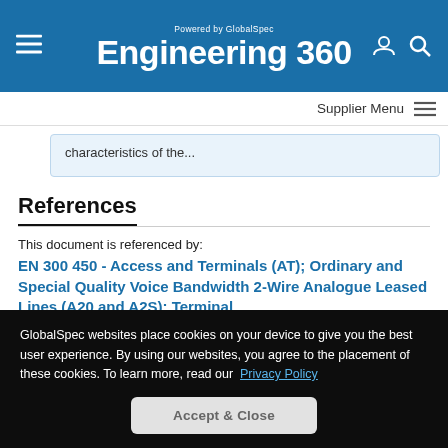Engineering 360 — Powered by GlobalSpec
Supplier Menu
characteristics of the...
References
This document is referenced by:
EN 300 450 - Access and Terminals (AT); Ordinary and Special Quality Voice Bandwidth 2-Wire Analogue Leased Lines (A20 and A2S); Terminal
GlobalSpec websites place cookies on your device to give you the best user experience. By using our websites, you agree to the placement of these cookies. To learn more, read our Privacy Policy
Accept & Close